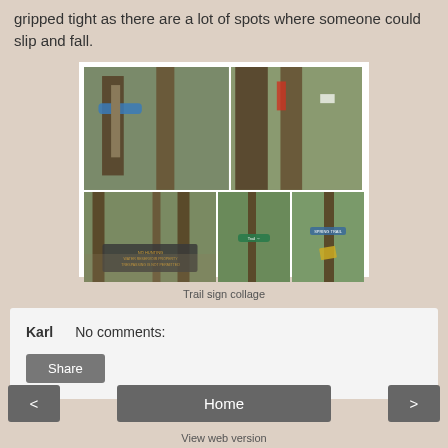gripped tight as there are a lot of spots where someone could slip and fall.
[Figure (photo): A collage of trail sign photos showing various trail markers and signs on trees in a forest setting.]
Trail sign collage
Karl    No comments:
Share
< Home >
View web version